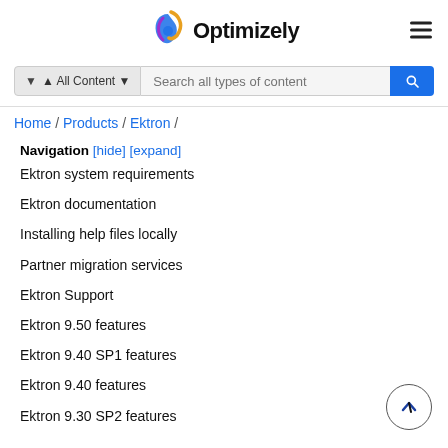[Figure (logo): Optimizely logo with colorful swirl icon and bold text 'Optimizely']
[Figure (screenshot): Search bar with 'All Content' filter dropdown and 'Search all types of content' placeholder, and blue search button]
Home / Products / Ektron /
Navigation [hide] [expand]
Ektron system requirements
Ektron documentation
Installing help files locally
Partner migration services
Ektron Support
Ektron 9.50 features
Ektron 9.40 SP1 features
Ektron 9.40 features
Ektron 9.30 SP2 features